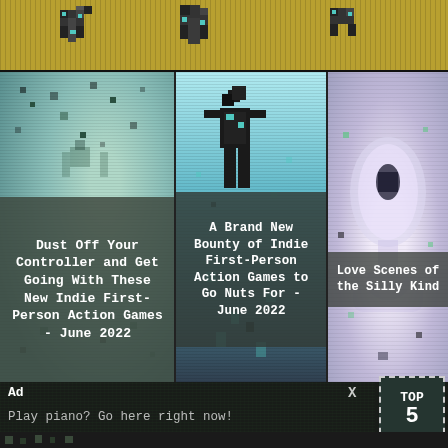[Figure (illustration): Top banner with pixelated/retro game art on golden/tan background, showing pixel character sprites]
[Figure (illustration): Left column: teal/cyan pixelated background with dark overlay and white text title]
Dust Off Your Controller and Get Going With These New Indie First-Person Action Games - June 2022
[Figure (illustration): Center column: cyan/dark pixelated figure illustration with dark overlay and white text title]
A Brand New Bounty of Indie First-Person Action Games to Go Nuts For - June 2022
[Figure (illustration): Right column: light purple/pink pixelated figure illustration with dark overlay and white text]
Love Scenes of the Silly Kind
Ad
X
Play piano? Go here right now!
[Figure (illustration): TOP button with dashed border and number, retro game style]